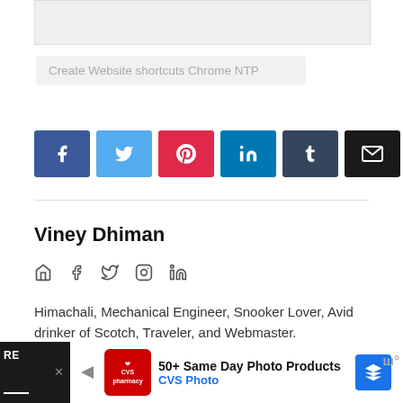[Figure (screenshot): Gray box at top (partial image/banner area)]
Create Website shortcuts Chrome NTP
[Figure (infographic): Row of social share buttons: Facebook, Twitter, Pinterest, LinkedIn, Tumblr, Email]
Viney Dhiman
[Figure (infographic): Social media icons: home, facebook, twitter, instagram, linkedin]
Himachali, Mechanical Engineer, Snooker Lover, Avid drinker of Scotch, Traveler, and Webmaster.
[Figure (screenshot): Advertisement banner at bottom: CVS Photo - 50+ Same Day Photo Products]